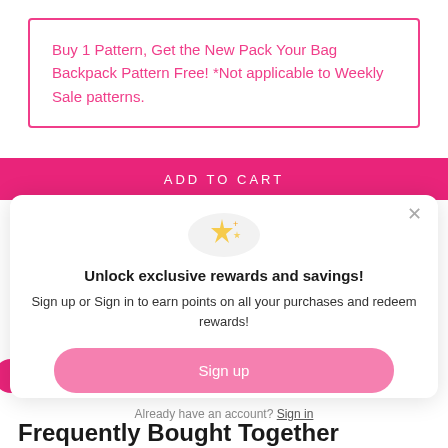Buy 1 Pattern, Get the New Pack Your Bag Backpack Pattern Free! *Not applicable to Weekly Sale patterns.
ADD TO CART
[Figure (illustration): Sparkle/stars emoji icon inside a light gray circle]
Unlock exclusive rewards and savings!
Sign up or Sign in to earn points on all your purchases and redeem rewards!
Sign up
Already have an account? Sign in
Frequently Bought Together